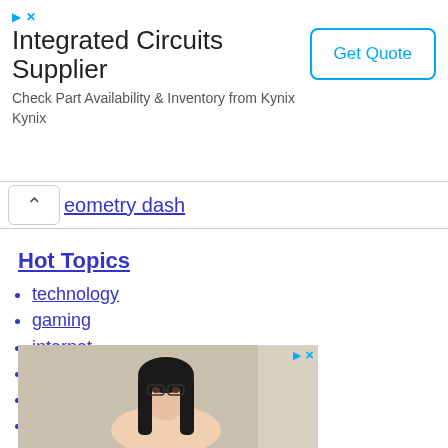[Figure (other): Advertisement banner for Integrated Circuits Supplier (Kynix) with title, description text, and Get Quote button]
eometry dash
Hot Topics
technology
gaming
internet
gadgets
phones
consoles
games
video games
video
social networking
[Figure (photo): Advertisement image showing a woman with glasses and dark hair]